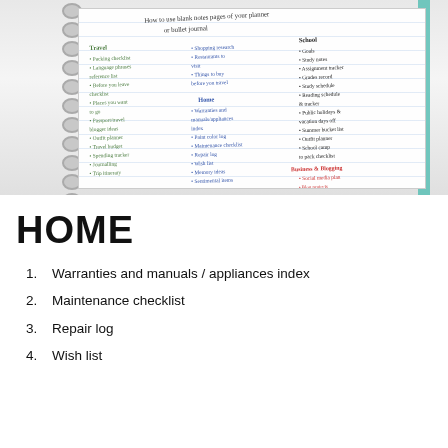[Figure (photo): Photo of an open spiral-bound planner/bullet journal showing handwritten notes in multiple colors organized into categories: Travel, Home, School, and Business & Blogging. The page title reads 'How to use blank notes pages of your planner or bullet journal'. A teal elastic band is visible on the right side.]
HOME
1. Warranties and manuals / appliances index
2. Maintenance checklist
3. Repair log
4. Wish list